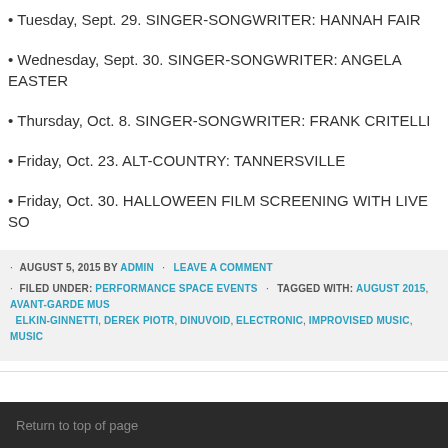• Tuesday, Sept. 29. SINGER-SONGWRITER: HANNAH FAIR
• Wednesday, Sept. 30. SINGER-SONGWRITER: ANGELA EASTER
• Thursday, Oct. 8. SINGER-SONGWRITER: FRANK CRITELLI
• Friday, Oct. 23. ALT-COUNTRY: TANNERSVILLE
• Friday, Oct. 30. HALLOWEEN FILM SCREENING WITH LIVE SO
AUGUST 5, 2015 BY ADMIN · LEAVE A COMMENT
FILED UNDER: PERFORMANCE SPACE EVENTS · TAGGED WITH: AUGUST 2015, AVANT-GARDE MUS, ELKIN-GINNETTI, DEREK PIOTR, DINUVOID, ELECTRONIC, IMPROVISED MUSIC, MUSIC
Return to top of page